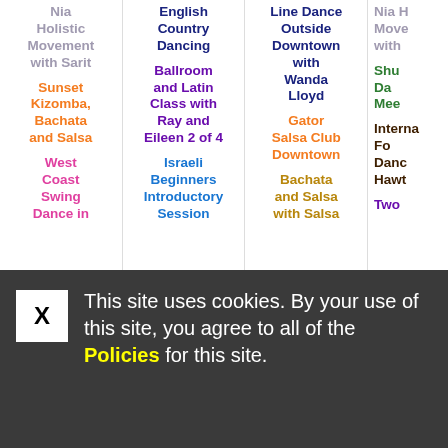Nia Holistic Movement with Sarit
Sunset Kizomba, Bachata and Salsa
West Coast Swing Dance in
English Country Dancing
Ballroom and Latin Class with Ray and Eileen 2 of 4
Israeli Beginners Introductory Session
Line Dance Outside Downtown with Wanda Lloyd
Gator Salsa Club Downtown
Bachata and Salsa with Salsa
Nia H... Move... with
Shu... Da... Mee...
Interna... Fo... Danc... Hawt...
Two
This site uses cookies. By your use of this site, you agree to all of the Policies for this site.